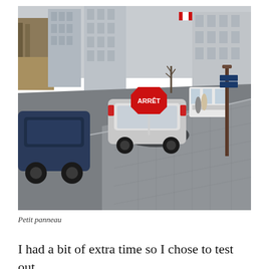[Figure (photo): Street scene in a Canadian city showing an intersection with cars, a bus, an ARRÊT (stop) sign on a post, cobblestone sidewalk with a pothole or damaged asphalt patch near the curb, urban buildings in the background, overcast sky.]
Petit panneau
I had a bit of extra time so I chose to test out